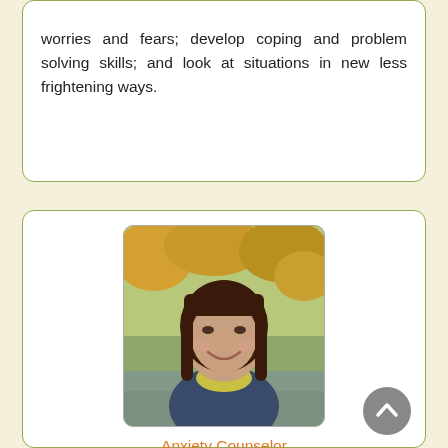worries and fears; develop coping and problem solving skills; and look at situations in new less frightening ways.
[Figure (photo): Profile photo of Michelle Skiba, a woman with long dark hair, smiling, outdoors with autumn foliage in background]
Anxiety Counselor
Michelle Skiba, MA, LMFT
Marriage & Family Therapist
In 80401 · Nearby to Idaho Springs